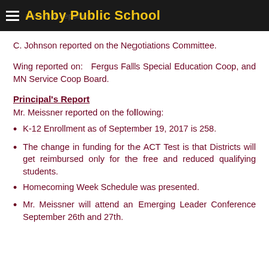Ashby Public School
C. Johnson reported on the Negotiations Committee.
Wing reported on:   Fergus Falls Special Education Coop, and MN Service Coop Board.
Principal's Report
Mr. Meissner reported on the following:
K-12 Enrollment as of September 19, 2017 is 258.
The change in funding for the ACT Test is that Districts will get reimbursed only for the free and reduced qualifying students.
Homecoming Week Schedule was presented.
Mr. Meissner will attend an Emerging Leader Conference September 26th and 27th.